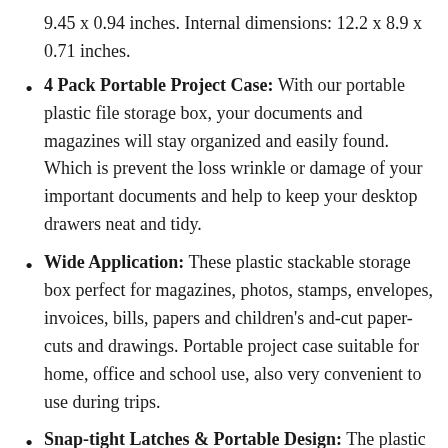9.45 x 0.94 inches. Internal dimensions: 12.2 x 8.9 x 0.71 inches.
4 Pack Portable Project Case: With our portable plastic file storage box, your documents and magazines will stay organized and easily found. Which is prevent the loss wrinkle or damage of your important documents and help to keep your desktop drawers neat and tidy.
Wide Application: These plastic stackable storage box perfect for magazines, photos, stamps, envelopes, invoices, bills, papers and children’s and-cut paper-cuts and drawings. Portable project case suitable for home, office and school use, also very convenient to use during trips.
Snap-tight Latches & Portable Design: The plastic